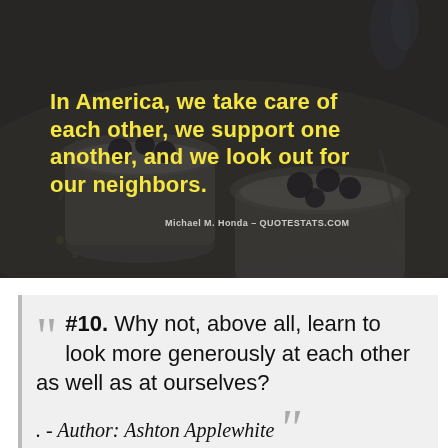[Figure (photo): Dark-tinted photo of glass jars with yogurt/granola and dark berries/olives, with a yellow bold quote overlay and attribution text]
In America, we take care of each other, we support one another, and we look out for our neighbors.
Michael M. Honda - QUOTESTATS.COM
#10. Why not, above all, learn to look more generously at each other as well as at ourselves?
. - Author: Ashton Applewhite